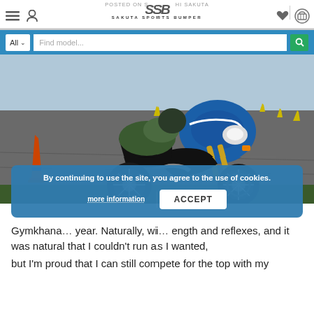POSTED ON ... HI SAKUTA
[Figure (screenshot): SSB Sakuta Sports Bumper website header with logo, navigation icons, and search bar]
[Figure (photo): Motorcycle (blue sport bike) leaning through a gymkhana course with orange traffic cones visible in background]
By continuing to use the site, you agree to the use of cookies.
Gymkhana ... year. Naturally, wi... ength and reflexes, and it was natural that I couldn't run as I wanted,
but I'm proud that I can still compete for the top with my